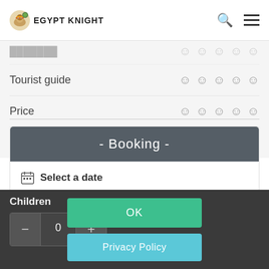EGYPT KNIGHT
Tourist guide ☺☺☺☺☺
Price ☺☺☺☺☺
Quality ☺☺☺☺☺
- Booking -
Select a date
05/12/2022
Adults
1
Children
0
OK
Privacy Policy